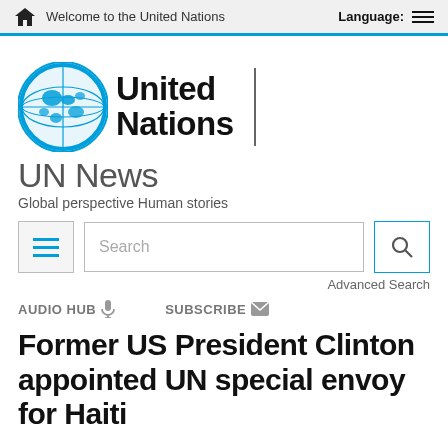Welcome to the United Nations   Language:
[Figure (logo): United Nations globe logo with 'United Nations' text and vertical divider bar]
UN News
Global perspective Human stories
Search  Advanced Search
AUDIO HUB  SUBSCRIBE
Former US President Clinton appointed UN special envoy for Haiti